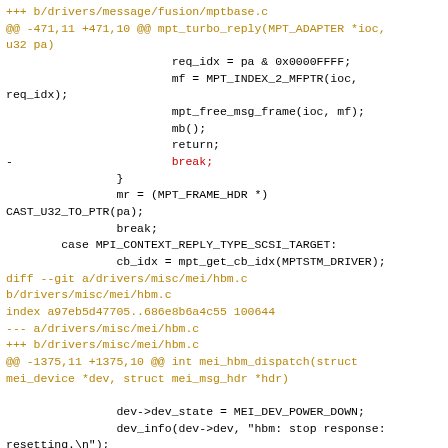Diff code patch showing changes to drivers/message/fusion/mptbase.c and drivers/misc/mei/hbm.c files, removing 'break;' statements in two locations.